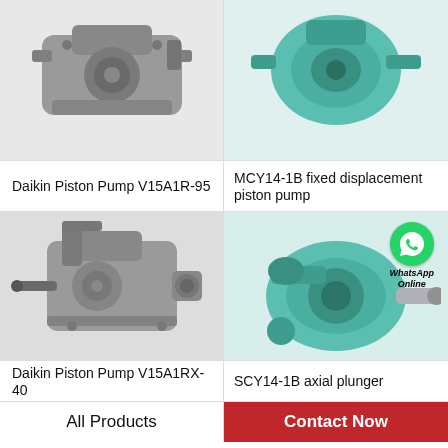[Figure (photo): Daikin Piston Pump V15A1R-95, gray metal hydraulic pump, top view cropped]
Daikin Piston Pump V15A1R-95
[Figure (photo): MCY14-1B fixed displacement piston pump, teal/green color, top view cropped]
MCY14-1B fixed displacement piston pump
[Figure (photo): Daikin Piston Pump V15A1R-40, gray metal hydraulic pump, full view with shaft]
Daikin Piston Pump V15A1RX-40
[Figure (photo): SCY14-1B axial plunger pump, teal/green color with WhatsApp Online badge overlay]
SCY14-1B axial plunger
All Products
Contact Now